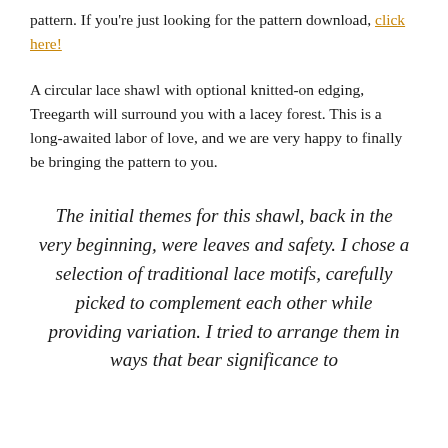pattern. If you're just looking for the pattern download, click here!
A circular lace shawl with optional knitted-on edging, Treegarth will surround you with a lacey forest. This is a long-awaited labor of love, and we are very happy to finally be bringing the pattern to you.
The initial themes for this shawl, back in the very beginning, were leaves and safety. I chose a selection of traditional lace motifs, carefully picked to complement each other while providing variation. I tried to arrange them in ways that bear significance to